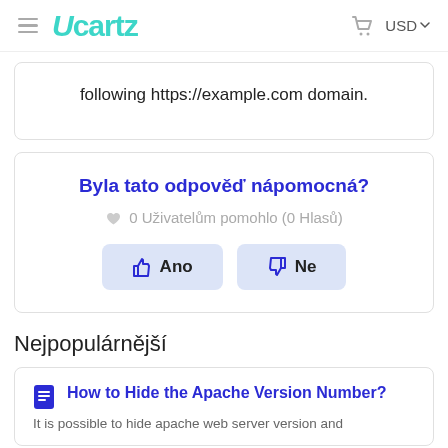Ucartz | USD
following https://example.com domain.
Byla tato odpověď nápomocná?
0 Uživatelům pomohlo (0 Hlasů)
Ano | Ne
Nejpopulárnější
How to Hide the Apache Version Number?
It is possible to hide apache web server version and